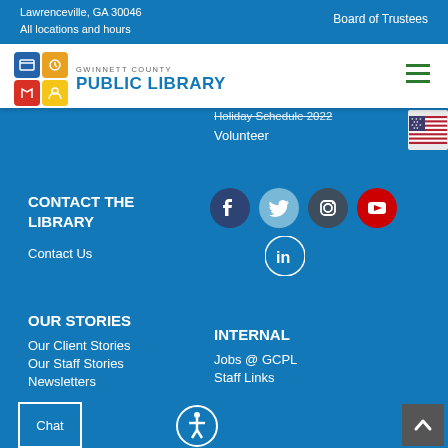Lawrenceville, GA 30046
All locations and hours
Board of Trustees
[Figure (logo): Gwinnett County Public Library logo with colorful 2x2 grid of icons and text]
Holiday Schedule 2022
Volunteer
[Figure (other): US Flag language selector button]
CONTACT THE LIBRARY
[Figure (infographic): Social media icons: Facebook, Twitter, Instagram, YouTube, LinkedIn]
Contact Us
OUR STORIES
Our Client Stories
Our Staff Stories
Newsletters
INTERNAL
Jobs @ GCPL
Staff Links
Chat
[Figure (other): Accessibility icon button]
[Figure (other): Back to top button with upward arrow]